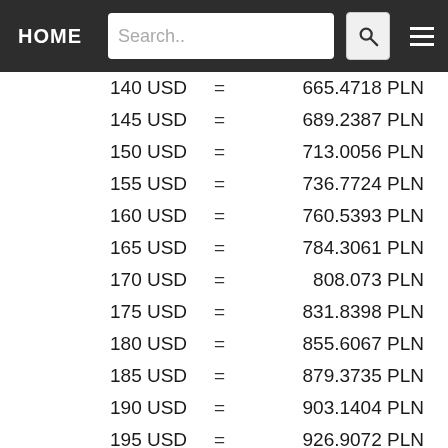HOME | Search.. | menu
| USD | = | PLN |
| --- | --- | --- |
| 140 USD | = | 665.4718 PLN |
| 145 USD | = | 689.2387 PLN |
| 150 USD | = | 713.0056 PLN |
| 155 USD | = | 736.7724 PLN |
| 160 USD | = | 760.5393 PLN |
| 165 USD | = | 784.3061 PLN |
| 170 USD | = | 808.073 PLN |
| 175 USD | = | 831.8398 PLN |
| 180 USD | = | 855.6067 PLN |
| 185 USD | = | 879.3735 PLN |
| 190 USD | = | 903.1404 PLN |
| 195 USD | = | 926.9072 PLN |
| 200 USD | = | 950.6741 PLN |
| 205 USD | = | 974.4409 PLN |
| 210 USD | = | 998.2078 PLN |
| 215 USD | = | 1021.9746 PLN |